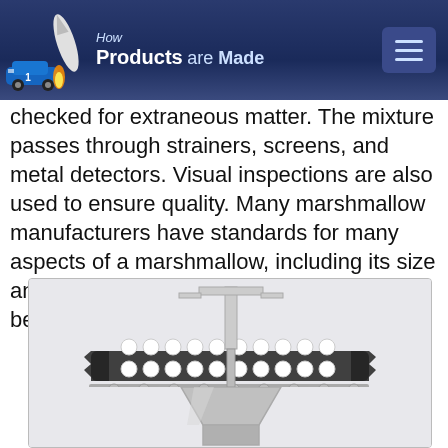How Products are Made
checked for extraneous matter. The mixture passes through strainers, screens, and metal detectors. Visual inspections are also used to ensure quality. Many marshmallow manufacturers have standards for many aspects of a marshmallow, including its size and texture. An ideal marshmallow should be light. This quality
[Figure (illustration): Engineering/manufacturing illustration showing extruded marshmallows on a rubber conveyor belt with a downward arrow indicating the next step in production, and machinery components below.]